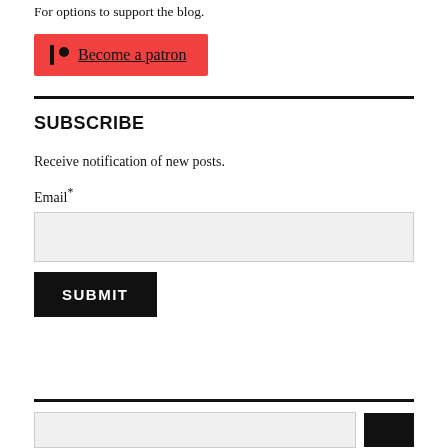For options to support the blog.
[Figure (other): Red Patreon button with pipe-and-dot icon and 'Become a patron' link text]
SUBSCRIBE
Receive notification of new posts.
Email*
SUBMIT